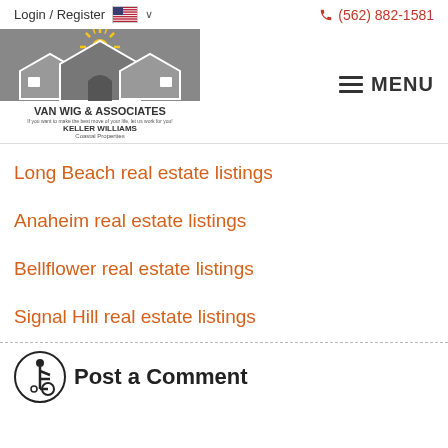Login / Register  🇺🇸 ∨    (562) 882-1581
[Figure (logo): Van Wig & Associates Keller Williams Coastal Properties logo on grey background with house silhouettes and sunburst]
Long Beach real estate listings
Anaheim real estate listings
Bellflower real estate listings
Signal Hill real estate listings
Post a Comment